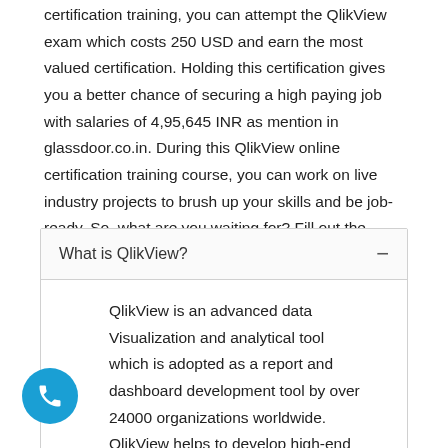certification training, you can attempt the QlikView exam which costs 250 USD and earn the most valued certification. Holding this certification gives you a better chance of securing a high paying job with salaries of 4,95,645 INR as mention in glassdoor.co.in. During this QlikView online certification training course, you can work on live industry projects to brush up your skills and be job-ready. So, what are you waiting for? Fill out the inquiry form and get a free QlikView demo class!
What is QlikView?
QlikView is an advanced data Visualization and analytical tool which is adopted as a report and dashboard development tool by over 24000 organizations worldwide. QlikView helps to develop high-end interactive Business dashboards and KPIs. QlikView provides a world-first associative architecture which uncovers business insights.